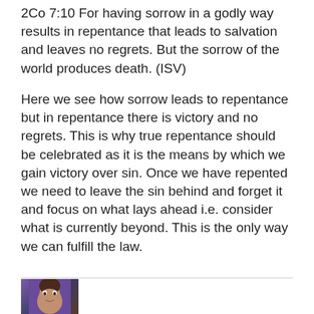2Co 7:10 For having sorrow in a godly way results in repentance that leads to salvation and leaves no regrets. But the sorrow of the world produces death. (ISV)
Here we see how sorrow leads to repentance but in repentance there is victory and no regrets. This is why true repentance should be celebrated as it is the means by which we gain victory over sin. Once we have repented we need to leave the sin behind and forget it and focus on what lays ahead i.e. consider what is currently beyond. This is the only way we can fulfill the law.
[Figure (photo): Small avatar photo of a person against a purple/blue background, partially visible at the bottom of the page.]